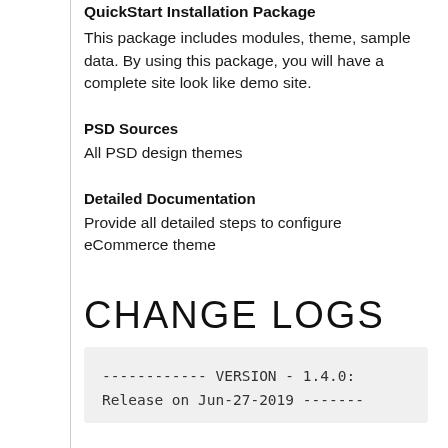QuickStart Installation Package
This package includes modules, theme, sample data. By using this package, you will have a complete site look like demo site.
PSD Sources
All PSD design themes
Detailed Documentation
Provide all detailed steps to configure eCommerce theme
CHANGE LOGS
------------ VERSION - 1.4.0:
Release on Jun-27-2019 -------